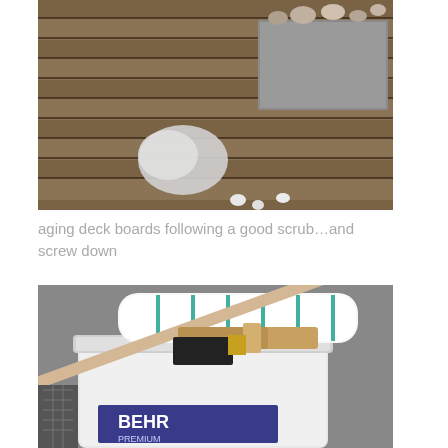[Figure (photo): Photo of aging wooden deck boards after scrubbing, with rocks and stones on top of a concrete block. Some seashells visible on the deck planks.]
aging deck boards following a good scrub…and screw down
[Figure (photo): Photo of painting supplies: a white paint roller, a paint brush with wooden handle, a wooden stir stick, and a large white BEHR PREMIUM paint bucket/pail.]